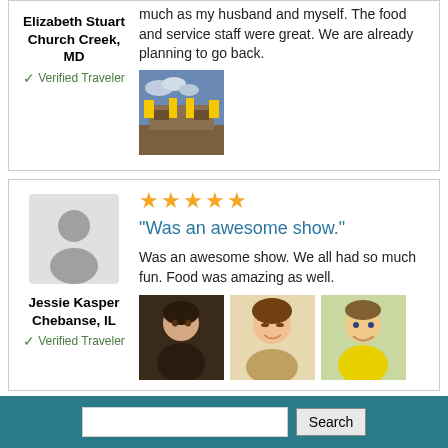Elizabeth Stuart
Church Creek, MD
✓ Verified Traveler
much as my husband and myself. The food and service staff were great. We are already planning to go back.
[Figure (photo): Small photo of venue with yellow decorations]
[Figure (illustration): Gray silhouette avatar placeholder]
Jessie Kasper
Chebanse, IL
✓ Verified Traveler
[Figure (other): 5 orange stars rating]
"Was an awesome show."
Was an awesome show. We all had so much fun. Food was amazing as well.
[Figure (photo): Three photos: woman, girl, boy]
[Figure (illustration): Gray silhouette avatar placeholder]
Trudie Robinson
[Figure (other): 4 orange stars rating, 1 gray star]
Ask for lower seats because i can not walk up stairs good